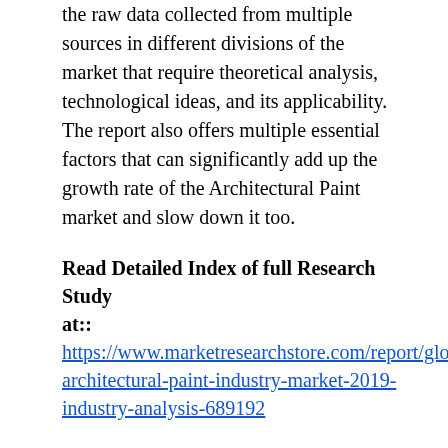the raw data collected from multiple sources in different divisions of the market that require theoretical analysis, technological ideas, and its applicability. The report also offers multiple essential factors that can significantly add up the growth rate of the Architectural Paint market and slow down it too.
Read Detailed Index of full Research Study at::
https://www.marketresearchstore.com/report/global-architectural-paint-industry-market-2019-industry-analysis-689192
The report offers data about the future expansion of the industry, based on its past data, and current trends followed by the Architectural Paint market region-wise too North America (United States, Canada and Mexico), Europe (Germany, UK, France, Italy, Russia and Turkey etc.), Asia-Pacific (China, Japan, Korea, India, Australia, Indonesia, Thailand, Philippines, Malaysia and